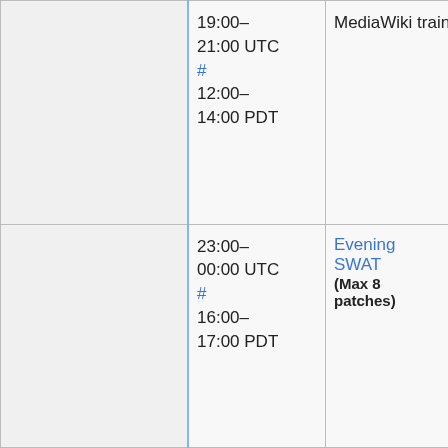|  | 19:00–21:00 UTC
#
12:00–14:00 PDT | MediaWiki train | Mukunda (twentyafter… |
|  | 23:00–00:00 UTC
#
16:00–17:00 PDT | Evening SWAT
(Max 8 patches) | Roan (RoanKattouw…
Chad (ostrich…
Alex (Krenair…
(MaxSem), Adam
(awight), or
Sébastien
(Dereckson) |